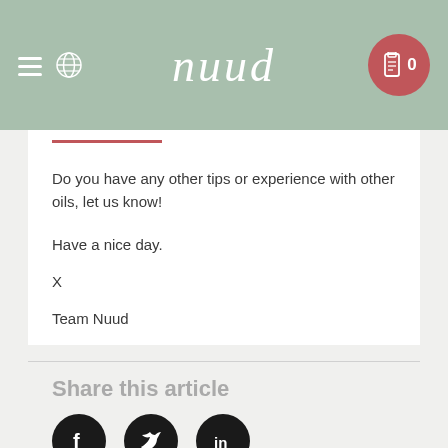nuud — navigation header with hamburger menu, globe icon, nuud logo, and cart button showing 0
Do you have any other tips or experience with other oils, let us know!
Have a nice day.
X
Team Nuud
Share this article
[Figure (other): Social media share icons: Facebook, Twitter, LinkedIn — black circles with white icons, partially visible at bottom of page]